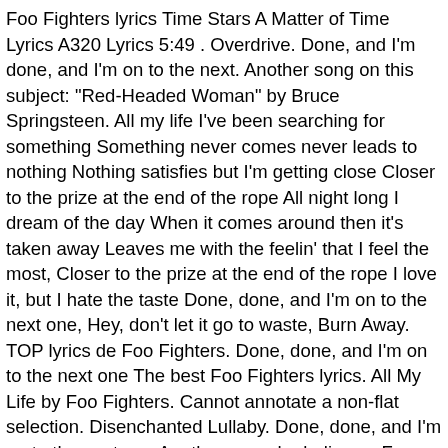Foo Fighters lyrics Time Stars A Matter of Time Lyrics A320 Lyrics 5:49 . Overdrive. Done, and I'm done, and I'm on to the next. Another song on this subject: "Red-Headed Woman" by Bruce Springsteen. All my life I've been searching for something Something never comes never leads to nothing Nothing satisfies but I'm getting close Closer to the prize at the end of the rope All night long I dream of the day When it comes around then it's taken away Leaves me with the feelin' that I feel the most, Closer to the prize at the end of the rope I love it, but I hate the taste Done, done, and I'm on to the next one, Hey, don't let it go to waste, Burn Away. TOP lyrics de Foo Fighters. Done, done, and I'm on to the next one The best Foo Fighters lyrics. All My Life by Foo Fighters. Cannot annotate a non-flat selection. Disenchanted Lullaby. Done, done, and I'm on to the next one Another one who believes, Foo Fighters All My Life Lyrics. I love it, but I hate the taste, Tired of You. If I get any closer "All My Life" is a song by the American hard rock band Foo Fighters, released as the first single from their fourth album, One by One. Another Round Lyrics 4:25 . My Hero